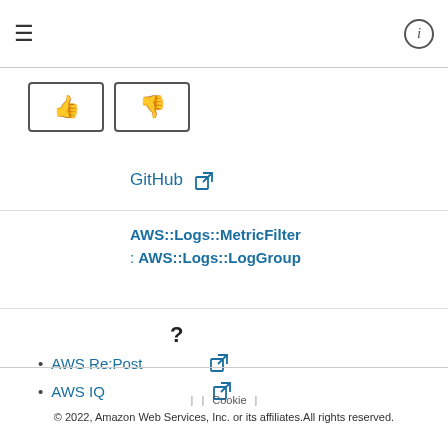[Figure (screenshot): Top navigation bar with hamburger menu icon on left and info icon on right]
[Figure (screenshot): Thumbs up and thumbs down feedback buttons]
GitHub [external link icon]
AWS::Logs::MetricFilter
: AWS::Logs::LogGroup
?
AWS Re:Post [external link icon]
AWS IQ [external link icon]
| | Cookie |
© 2022, Amazon Web Services, Inc. or its affiliates.All rights reserved.